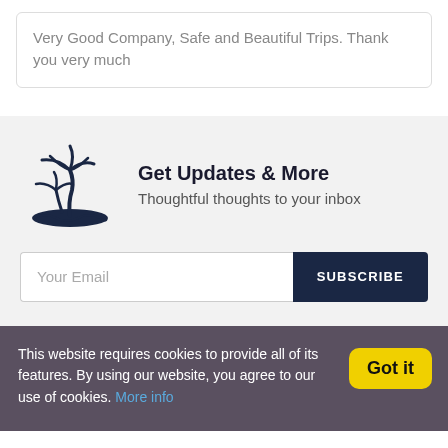Very Good Company, Safe and Beautiful Trips. Thank you very much
[Figure (illustration): Palm tree island logo icon in dark navy blue]
Get Updates & More
Thoughtful thoughts to your inbox
Your Email [input field] SUBSCRIBE [button]
This website requires cookies to provide all of its features. By using our website, you agree to our use of cookies. More info